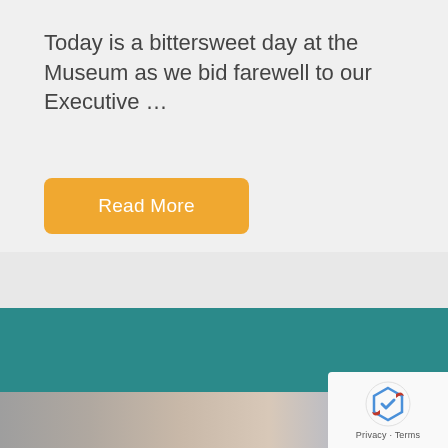Today is a bittersweet day at the Museum as we bid farewell to our Executive …
Read More
childrensmuseumatlanta
[Figure (photo): Blurred photo of children at the Children's Museum of Atlanta]
[Figure (logo): reCAPTCHA logo with Privacy and Terms text]